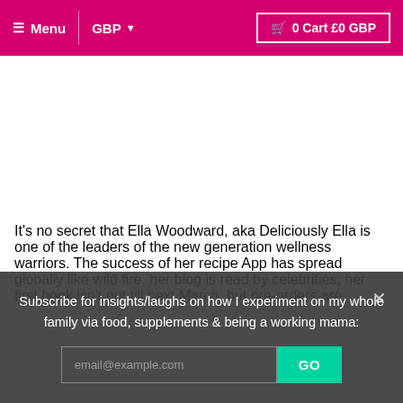Menu  GBP  0 Cart £0 GBP
It's no secret that Ella Woodward, aka Deliciously Ella is one of the leaders of the new generation wellness warriors. The success of her recipe App has spread globally like wild fire, her blog is read by celebrities, her first book isn't out till next March, but pre-orders are
Subscribe for insights/laughs on how I experiment on my whole family via food, supplements & being a working mama:
email@example.com  GO